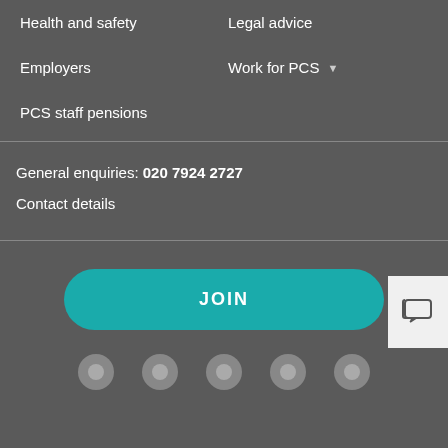Health and safety
Legal advice
Employers
Work for PCS
PCS staff pensions
General enquiries: 020 7924 2727
Contact details
JOIN
[Figure (other): Social media icon circles at bottom of page]
[Figure (other): Chat/message widget button in bottom right]